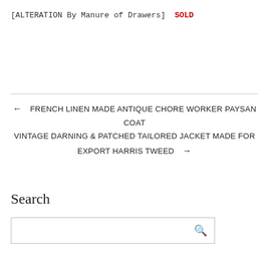[ALTERATION By Manure of Drawers]  SOLD
← FRENCH LINEN MADE ANTIQUE CHORE WORKER PAYSAN COAT
VINTAGE DARNING & PATCHED TAILORED JACKET MADE FOR EXPORT HARRIS TWEED →
Search